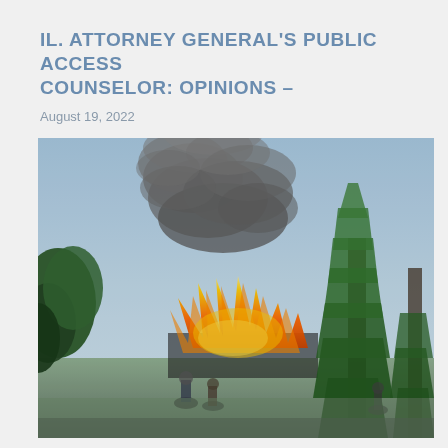IL. ATTORNEY GENERAL'S PUBLIC ACCESS COUNSELOR: OPINIONS –
August 19, 2022
[Figure (photo): Outdoor scene showing a building or structure engulfed in large orange flames with heavy dark smoke rising into a blue sky. Large evergreen trees are visible on the right side. Several people are seen standing in the foreground watching the fire.]